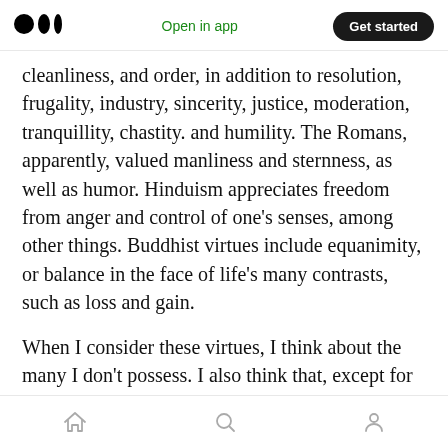Medium logo | Open in app | Get started
cleanliness, and order, in addition to resolution, frugality, industry, sincerity, justice, moderation, tranquillity, chastity. and humility. The Romans, apparently, valued manliness and sternness, as well as humor. Hinduism appreciates freedom from anger and control of one’s senses, among other things. Buddhist virtues include equanimity, or balance in the face of life’s many contrasts, such as loss and gain.
When I consider these virtues, I think about the many I don’t possess. I also think that, except for silence and diligence, weeds have a hard time
home | search | profile